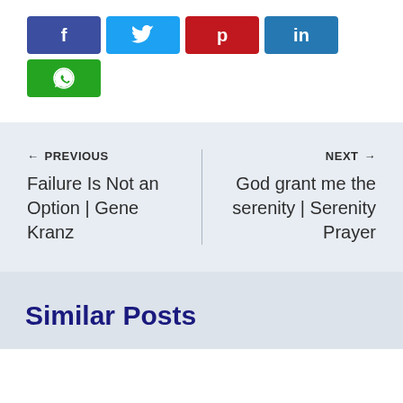[Figure (infographic): Social media share buttons: Facebook (dark blue), Twitter (light blue), Pinterest (red), LinkedIn (blue), WhatsApp (green)]
← PREVIOUS
Failure Is Not an Option | Gene Kranz
NEXT →
God grant me the serenity | Serenity Prayer
Similar Posts